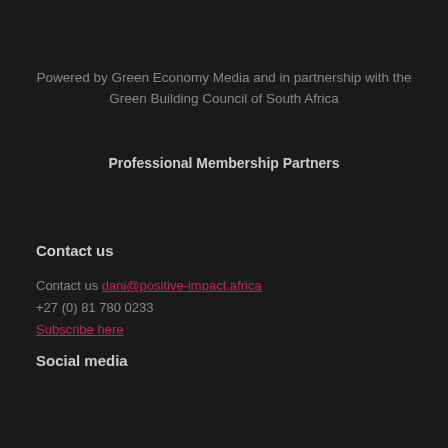Powered by Green Economy Media and in partnership with the Green Building Council of South Africa
Professional Membership Partners
Contact us
Contact us dani@positive-impact.africa
+27 (0) 81 780 0233
Subscribe here
Social media